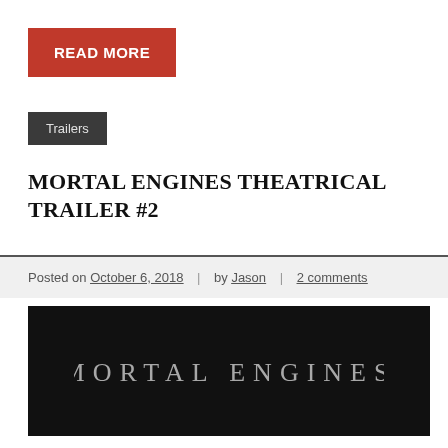READ MORE
Trailers
MORTAL ENGINES THEATRICAL TRAILER #2
Posted on October 6, 2018 | by Jason | 2 comments
[Figure (screenshot): Black background with stylized text reading MORTAL ENGINES in a metallic serif font]